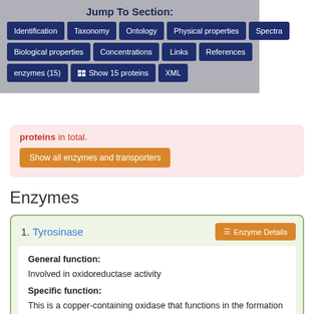Jump To Section:
Identification | Taxonomy | Ontology | Physical properties | Spectra
Biological properties | Concentrations | Links | References
enzymes (15) | Show 15 proteins | XML
proteins in total.
Show all enzymes and transporters
Enzymes
1. Tyrosinase
Enzyme Details
General function:
Involved in oxidoreductase activity
Specific function:
This is a copper-containing oxidase that functions in the formation of pigments such as melanins and other polyphenolic compounds. Catalyzes the rate-limiting conversions of tyrosine to DOPA, DOPA to DOPA-quinone and possibly 5,6-dihydroxyindole to indole-